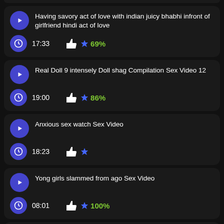Having savory act of love with indian juicy bhabhi infront of girlfriend hindi act of love | 17:33 | 69%
Real Doll 9 intensely Doll shag Compilation Sex Video 12 | 19:00 | 86%
Anxious sex watch Sex Video | 18:23
Yong girls slammed from ago Sex Video | 08:01 | 100%
xxxxxxx xxxx xx xxxx xxx xxx xxxxxxx xx xxxxxxx xxxx xxx pissing shag